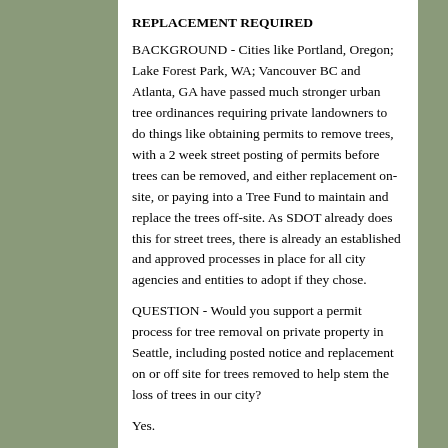REPLACEMENT REQUIRED
BACKGROUND - Cities like Portland, Oregon; Lake Forest Park, WA; Vancouver BC and Atlanta, GA have passed much stronger urban tree ordinances requiring private landowners to do things like obtaining permits to remove trees, with a 2 week street posting of permits before trees can be removed, and either replacement on-site, or paying into a Tree Fund to maintain and replace the trees off-site. As SDOT already does this for street trees, there is already an established and approved processes in place for all city agencies and entities to adopt if they chose.
QUESTION - Would you support a permit process for tree removal on private property in Seattle, including posted notice and replacement on or off site for trees removed to help stem the loss of trees in our city?
Yes.